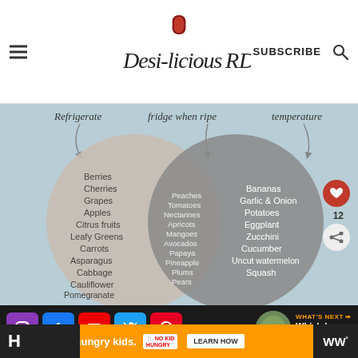Desi-licious RD — SUBSCRIBE
[Figure (infographic): Venn diagram showing food storage: left circle 'Refrigerate' with Berries, Cherries, Grapes, Apples, Citrus fruits, Leafy Greens, Carrots, Asparagus, Cabbage, Cauliflower, Pomegranate, Turnips & Radishes, Peas; middle overlap 'fridge when ripe' with Peaches, Tomatoes, Nectarines, Apricots, Mangoes, Avocados, Papaya, Pineapple, Plums, Pears; right circle 'room temperature' with Bananas, Garlic & Onion, Potatoes, Eggplant, Zucchini, Cucumber, Uncut watermelon, Squash]
Social icons: Instagram, Facebook, YouTube, Twitter, Pinterest | WHAT'S NEXT → Which Is Better -...
You can help hungry kids. NO KID HUNGRY LEARN HOW